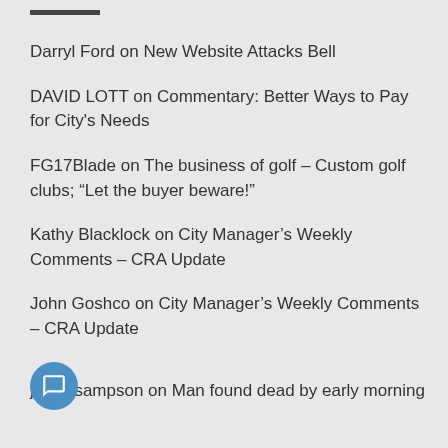Darryl Ford on New Website Attacks Bell
DAVID LOTT on Commentary: Better Ways to Pay for City's Needs
FG17Blade on The business of golf – Custom golf clubs; "Let the buyer beware!"
Kathy Blacklock on City Manager's Weekly Comments – CRA Update
John Goshco on City Manager's Weekly Comments – CRA Update
justin sampson on Man found dead by early morning